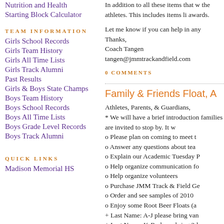Nutrition and Health
Starting Block Calculator
TEAM INFORMATION
Girls School Records
Girls Team History
Girls All Time Lists
Girls Track Alumni
Past Results
Girls & Boys State Champs
Boys Team History
Boys School Records
Boys All Time Lists
Boys Grade Level Records
Boys Track Alumni
QUICK LINKS
Madison Memorial HS
In addition to all these items that w the athletes. This includes items li awards.
Let me know if you can help in any Thanks,
Coach Tangen
tangen@jmmtrackandfield.com
0 COMMENTS
Family & Friends Float, A
Athletes, Parents, & Guardians,
* We will have a brief introduction families are invited to stop by. It w
o Please plan on coming to meet t
o Answer any questions about tea
o Explain our Academic Tuesday P
o Help organize communication fo
o Help organize volunteers
o Purchase JMM Track & Field Ge
o Order and see samples of 2010
o Enjoy some Root Beer Floats (a
+ Last Name: A-J please bring van
+ Last Name: K-R please bring 2 l
+ Last Name: S-Z please bring cu